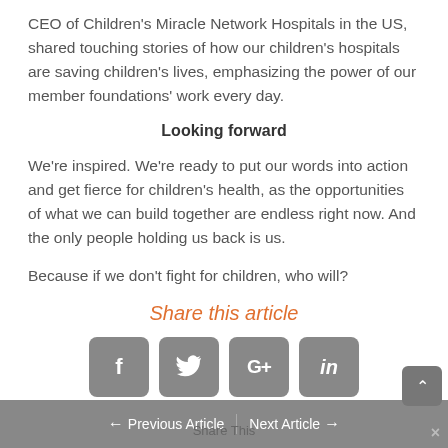CEO of Children's Miracle Network Hospitals in the US, shared touching stories of how our children's hospitals are saving children's lives, emphasizing the power of our member foundations' work every day.
Looking forward
We're inspired. We're ready to put our words into action and get fierce for children's health, as the opportunities of what we can build together are endless right now. And the only people holding us back is us.
Because if we don't fight for children, who will?
Share this article
[Figure (infographic): Four social media share buttons: Facebook (f), Twitter (bird icon), Google+ (G+), LinkedIn (in)]
← Previous Article  Share This  Next Article →